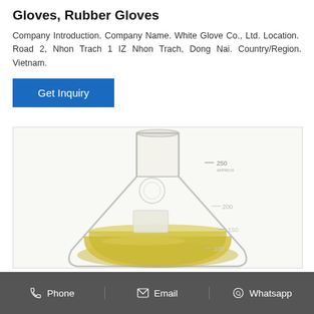Gloves, Rubber Gloves
Company Introduction. Company Name. White Glove Co., Ltd. Location. Road 2, Nhon Trach 1 IZ Nhon Trach, Dong Nai. Country/Region. Vietnam.
[Figure (other): Blue 'Get Inquiry' button]
[Figure (photo): Glass Erlenmeyer flask containing a yellow-golden liquid with measurement markings at 100, 150, 200, and 250 mL (APPROX), on a white background.]
Phone  Email  Whatsapp